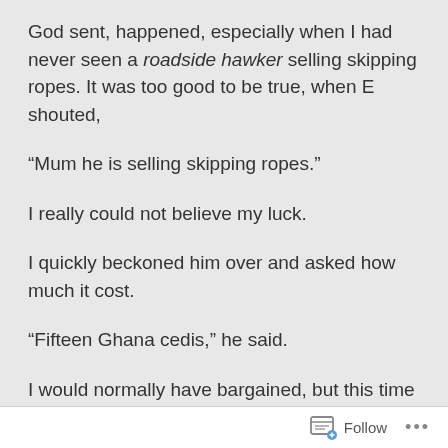God sent, happened, especially when I had never seen a roadside hawker selling skipping ropes. It was too good to be true, when E shouted,
“Mum he is selling skipping ropes.”
I really could not believe my luck.
I quickly beckoned him over and asked how much it cost.
“Fifteen Ghana cedis,” he said.
I would normally have bargained, but this time I knew how much this was going to be part of my regime, so I happily paid for my find and stashed it in my bag. We
Follow ...